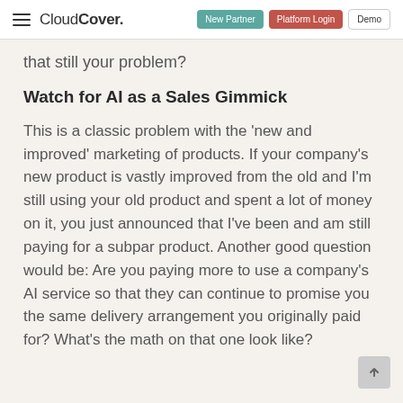CloudCover. | New Partner | Platform Login | Demo
that still your problem?
Watch for AI as a Sales Gimmick
This is a classic problem with the ‘new and improved’ marketing of products. If your company’s new product is vastly improved from the old and I’m still using your old product and spent a lot of money on it, you just announced that I’ve been and am still paying for a subpar product. Another good question would be: Are you paying more to use a company’s AI service so that they can continue to promise you the same delivery arrangement you originally paid for? What’s the math on that one look like?